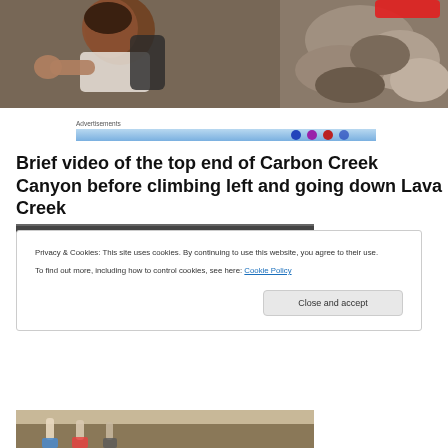[Figure (photo): Person examining rocks close-up, outdoor canyon setting]
Advertisements
[Figure (photo): Advertisements banner strip with blue gradient and icons]
Brief video of the top end of Carbon Creek Canyon before climbing left and going down Lava Creek
Privacy & Cookies: This site uses cookies. By continuing to use this website, you agree to their use.
To find out more, including how to control cookies, see here: Cookie Policy
Close and accept
[Figure (photo): People hiking in canyon, partial view at bottom of page]